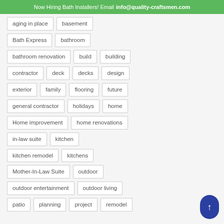Now Hiring Bath Installers! Email info@quality-craftsmen.com
aging in place
basement
Bath Express
bathroom
bathroom renovation
build
building
contractor
deck
decks
design
exterior
family
flooring
future
general contractor
holidays
home
Home improvement
home renovations
in-law suite
kitchen
kitchen remodel
kitchens
Mother-In-Law Suite
outdoor
outdoor entertainment
outdoor living
patio
planning
project
remodel